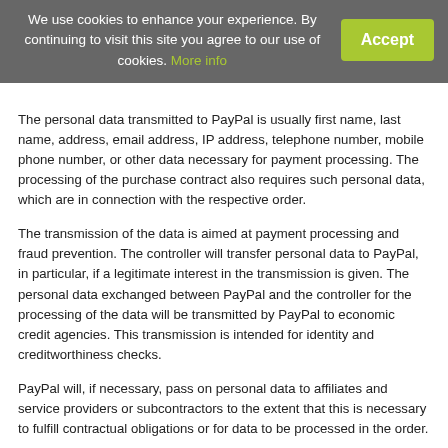We use cookies to enhance your experience. By continuing to visit this site you agree to our use of cookies. More info
The personal data transmitted to PayPal is usually first name, last name, address, email address, IP address, telephone number, mobile phone number, or other data necessary for payment processing. The processing of the purchase contract also requires such personal data, which are in connection with the respective order.
The transmission of the data is aimed at payment processing and fraud prevention. The controller will transfer personal data to PayPal, in particular, if a legitimate interest in the transmission is given. The personal data exchanged between PayPal and the controller for the processing of the data will be transmitted by PayPal to economic credit agencies. This transmission is intended for identity and creditworthiness checks.
PayPal will, if necessary, pass on personal data to affiliates and service providers or subcontractors to the extent that this is necessary to fulfill contractual obligations or for data to be processed in the order.
The data subject has the possibility to revoke consent for the handling of